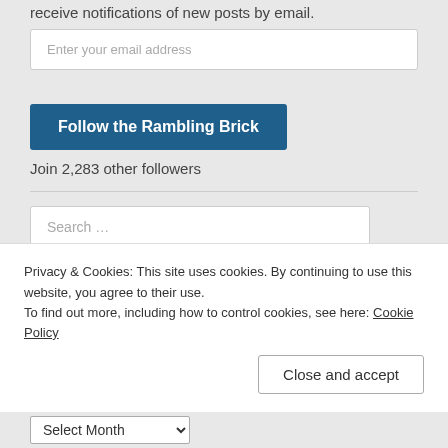receive notifications of new posts by email.
Enter your email address
Follow the Rambling Brick
Join 2,283 other followers
Search ...
FIND US ON SOCIAL MEDIA
[Figure (other): Social media icons: Facebook, Twitter, Instagram in blue]
RSS FEEDS
Privacy & Cookies: This site uses cookies. By continuing to use this website, you agree to their use.
To find out more, including how to control cookies, see here: Cookie Policy
Close and accept
Select Month